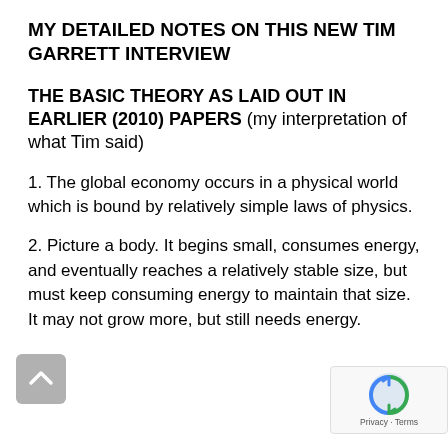MY DETAILED NOTES ON THIS NEW TIM GARRETT INTERVIEW
THE BASIC THEORY AS LAID OUT IN EARLIER (2010) PAPERS (my interpretation of what Tim said)
1. The global economy occurs in a physical world which is bound by relatively simple laws of physics.
2. Picture a body. It begins small, consumes energy, and eventually reaches a relatively stable size, but must keep consuming energy to maintain that size. It may not grow more, but still needs energy.